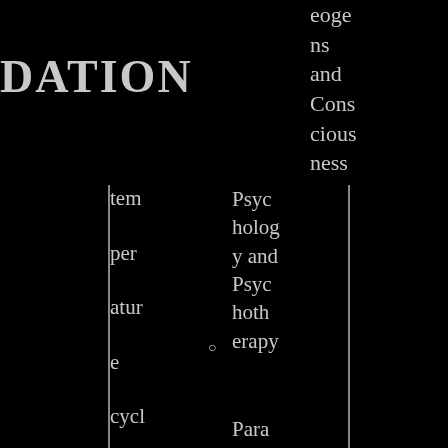DATION
eoge ns and Consciousness
temperature cycles, carbon dioxide cycles, and
Psychology and Psychotherapy
Parapsychology and Psychical Research arch